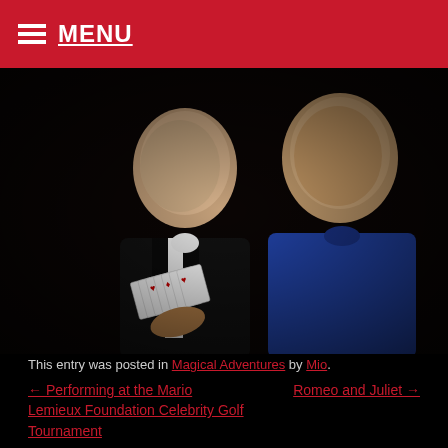☰ MENU
[Figure (photo): Two men posing together against a dark background; the man on the left is wearing a tuxedo and holding a fan of playing cards, the man on the right is wearing a blue polo shirt.]
This entry was posted in Magical Adventures by Mio.
← Performing at the Mario Lemieux Foundation Celebrity Golf Tournament
Romeo and Juliet →